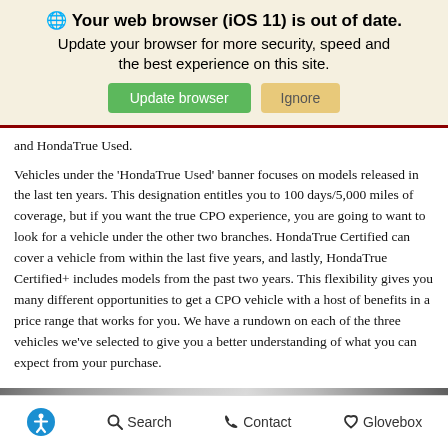[Figure (screenshot): Browser update notification banner with globe icon, heading 'Your web browser (iOS 11) is out of date.', subtext 'Update your browser for more security, speed and the best experience on this site.', green 'Update browser' button and tan 'Ignore' button]
and HondaTrue Used.
Vehicles under the 'HondaTrue Used' banner focuses on models released in the last ten years. This designation entitles you to 100 days/5,000 miles of coverage, but if you want the true CPO experience, you are going to want to look for a vehicle under the other two branches. HondaTrue Certified can cover a vehicle from within the last five years, and lastly, HondaTrue Certified+ includes models from the past two years. This flexibility gives you many different opportunities to get a CPO vehicle with a host of benefits in a price range that works for you. We have a rundown on each of the three vehicles we've selected to give you a better understanding of what you can expect from your purchase.
Accessibility | Search | Contact | Glovebox